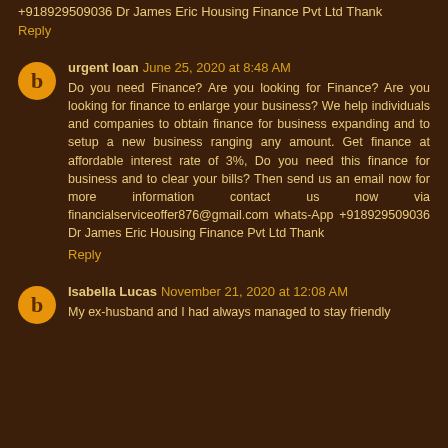+918929509036 Dr James Eric Housing Finance Pvt Ltd Thank
Reply
urgent loan  June 25, 2020 at 8:48 AM
Do you need Finance? Are you looking for Finance? Are you looking for finance to enlarge your business? We help individuals and companies to obtain finance for business expanding and to setup a new business ranging any amount. Get finance at affordable interest rate of 3%, Do you need this finance for business and to clear your bills? Then send us an email now for more information contact us now via financialserviceoffer876@gmail.com whats-App +918929509036 Dr James Eric Housing Finance Pvt Ltd Thank
Reply
Isabella Lucas  November 21, 2020 at 12:08 AM
My ex-husband and I had always managed to stay friendly